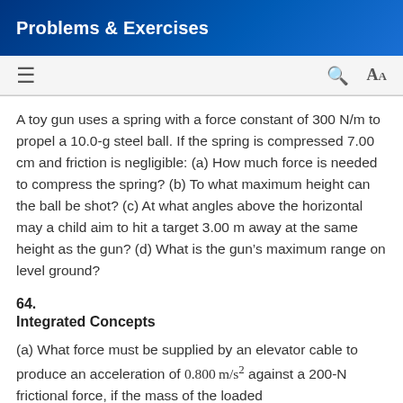Problems & Exercises
A toy gun uses a spring with a force constant of 300 N/m to propel a 10.0-g steel ball. If the spring is compressed 7.00 cm and friction is negligible: (a) How much force is needed to compress the spring? (b) To what maximum height can the ball be shot? (c) At what angles above the horizontal may a child aim to hit a target 3.00 m away at the same height as the gun? (d) What is the gun's maximum range on level ground?
64.
Integrated Concepts
(a) What force must be supplied by an elevator cable to produce an acceleration of 0.800 m/s² against a 200-N frictional force, if the mass of the loaded